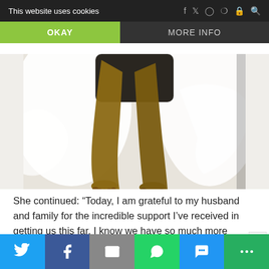This website uses cookies  OKAY  MORE INFO
[Figure (photo): Close-up photo of a person's legs and feet against a white fabric background]
She continued: “Today, I am grateful to my husband and family for the incredible support I’ve received in getting us this far. I know we have so much more ahead. I am blessed to work with incredible photographer, @shannonlaurine and my glam squad, @brandonliberati and @makeupbymarine all of which together we celebrate the female form during this incredible God given opportunity ? #bumpalert”
Twitter  Facebook  Email  WhatsApp  SMS  More